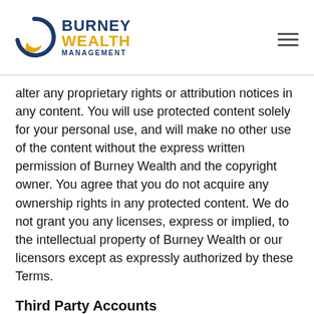Burney Wealth Management
alter any proprietary rights or attribution notices in any content. You will use protected content solely for your personal use, and will make no other use of the content without the express written permission of Burney Wealth and the copyright owner. You agree that you do not acquire any ownership rights in any protected content. We do not grant you any licenses, express or implied, to the intellectual property of Burney Wealth or our licensors except as expressly authorized by these Terms.
Third Party Accounts
You will be able to connect your Burney Wealth account to third party accounts. By connecting